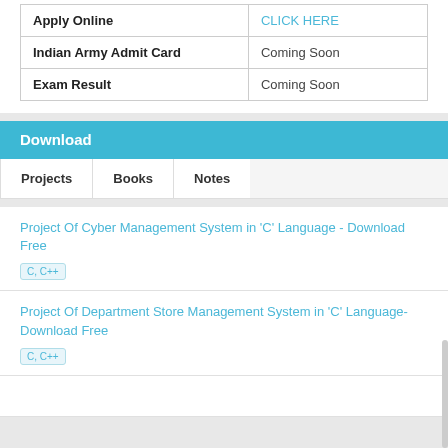|  |  |
| --- | --- |
| Apply Online | CLICK HERE |
| Indian Army Admit Card | Coming Soon |
| Exam Result | Coming Soon |
Download
Projects   Books   Notes
Project Of Cyber Management System in 'C' Language - Download Free
C, C++
Project Of Department Store Management System in 'C' Language- Download Free
C, C++